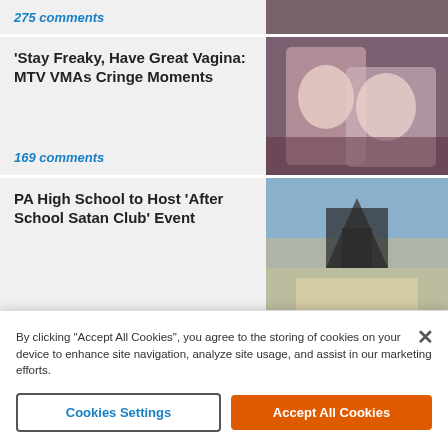275 comments
[Figure (photo): Partial photo visible at top of page, appears to show a political event]
'Stay Freaky, Have Great Vagina: MTV VMAs Cringe Moments
169 comments
[Figure (photo): Two people leaning close together at MTV VMAs event]
PA High School to Host 'After School Satan Club' Event
4,656 comments
[Figure (photo): Baphomet-style statue on a flatbed truck outside a building]
Fed Judge Sides with Trump; 'Preliminary Intent' for 'Special
[Figure (photo): FBI agent in jacket and a building, circular inset photo]
By clicking "Accept All Cookies", you agree to the storing of cookies on your device to enhance site navigation, analyze site usage, and assist in our marketing efforts.
Cookies Settings
Accept All Cookies